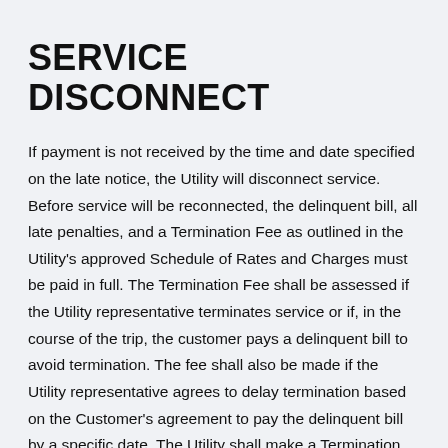SERVICE DISCONNECT
If payment is not received by the time and date specified on the late notice, the Utility will disconnect service. Before service will be reconnected, the delinquent bill, all late penalties, and a Termination Fee as outlined in the Utility's approved Schedule of Rates and Charges must be paid in full. The Termination Fee shall be assessed if the Utility representative terminates service or if, in the course of the trip, the customer pays a delinquent bill to avoid termination. The fee shall also be made if the Utility representative agrees to delay termination based on the Customer's agreement to pay the delinquent bill by a specific date. The Utility shall make a Termination Fee charge only once in any billing cycle.